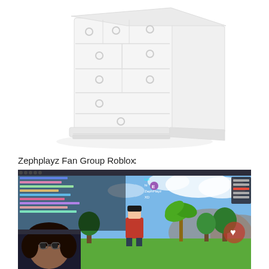[Figure (photo): White dresser/chest of drawers with multiple drawers and round knobs, on white background]
Zephplayz Fan Group Roblox
[Figure (screenshot): Screenshot of Roblox gameplay with player characters and chat overlay, with a webcam view of a person in bottom left corner]